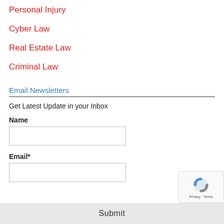Personal Injury
Cyber Law
Real Estate Law
Criminal Law
Email Newsletters
Get Latest Update in your Inbox
Name
Email*
Submit